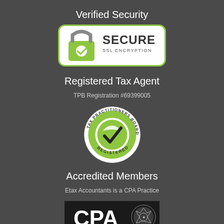Verified Security
[Figure (logo): Secure SSL Encryption badge — white rounded rectangle with green border, padlock icon with green checkmark, text SECURE SSL ENCRYPTION]
Registered Tax Agent
TPB Registration #69399005
[Figure (logo): Tax Practitioners Board Registered circular badge — green circle with black checkmark, text TAX PRACTITIONERS BOARD REGISTERED around the border]
Accredited Members
Etax Accountants is a CPA Practice
[Figure (logo): CPA Australia logo — black background with white CPA text and CPA Australia crest/emblem]